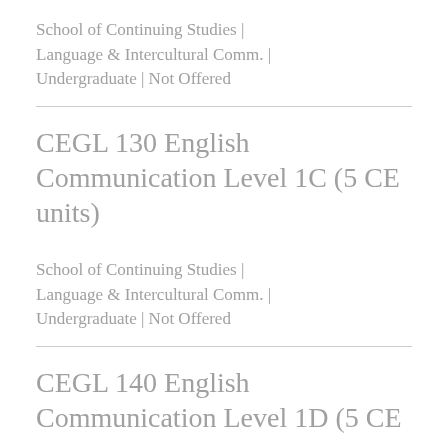School of Continuing Studies | Language & Intercultural Comm. | Undergraduate | Not Offered
CEGL 130 English Communication Level 1C (5 CE units)
School of Continuing Studies | Language & Intercultural Comm. | Undergraduate | Not Offered
CEGL 140 English Communication Level 1D (5 CE